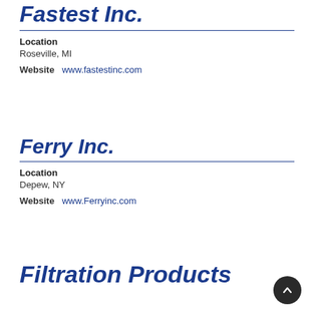Fastest Inc.
Location
Roseville, MI
Website  www.fastestinc.com
Ferry Inc.
Location
Depew, NY
Website  www.Ferryinc.com
Filtration Products